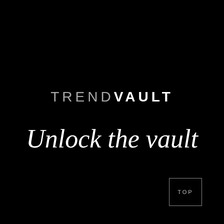TREND VAULT
Unlock the vault
TOP